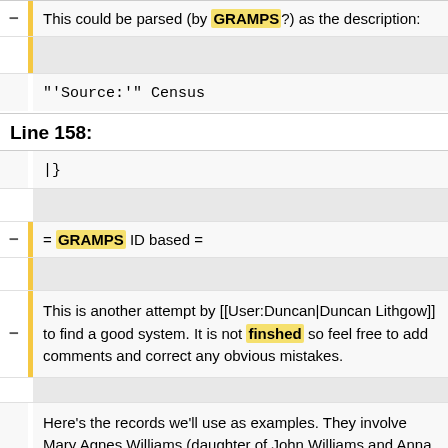This could be parsed (by GRAMPS?) as the description:
"'Source:'" Census
Line 158:
|}
= GRAMPS ID based =
This is another attempt by [[User:Duncan|Duncan Lithgow]] to find a good system. It is not finshed so feel free to add comments and correct any obvious mistakes.
Here's the records we'll use as examples. They involve Mary Agnes Williams (daughter of John Williams and Anna